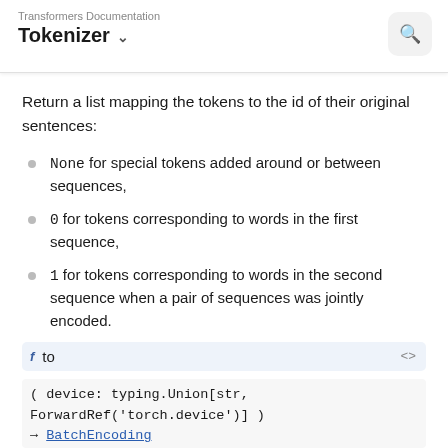Transformers Documentation
Tokenizer ˅
Return a list mapping the tokens to the id of their original sentences:
None for special tokens added around or between sequences,
0 for tokens corresponding to words in the first sequence,
1 for tokens corresponding to words in the second sequence when a pair of sequences was jointly encoded.
f  to  <>
( device: typing.Union[str, ForwardRef('torch.device')] )
→ BatchEncoding